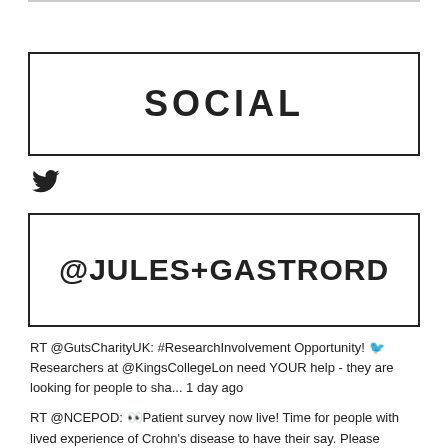SOCIAL
[Figure (logo): Twitter bird icon]
@JULES+GASTRORD
RT @GutsCharityUK: #ResearchInvolvement Opportunity! 🐦 Researchers at @KingsCollegeLon need YOUR help - they are looking for people to sha... 1 day ago
RT @NCEPOD: 👀Patient survey now live! Time for people with lived experience of Crohn's disease to have their say. Please complete the surve... 2 days ago